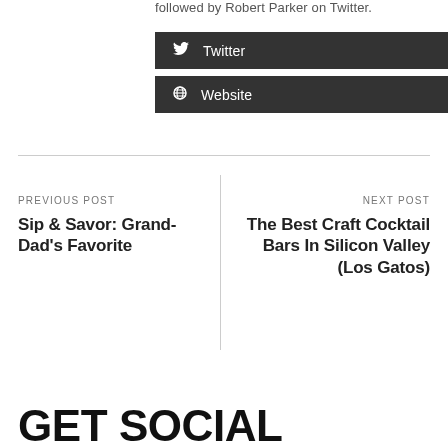followed by Robert Parker on Twitter.
Twitter
Website
PREVIOUS POST
Sip & Savor: Grand-Dad's Favorite
NEXT POST
The Best Craft Cocktail Bars In Silicon Valley (Los Gatos)
GET SOCIAL